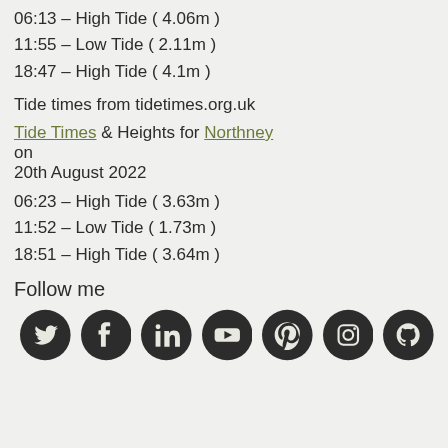06:13 – High Tide ( 4.06m )
11:55 – Low Tide ( 2.11m )
18:47 – High Tide ( 4.1m )
Tide times from tidetimes.org.uk
Tide Times & Heights for Northney on 20th August 2022
06:23 – High Tide ( 3.63m )
11:52 – Low Tide ( 1.73m )
18:51 – High Tide ( 3.64m )
Follow me
[Figure (infographic): Row of 7 social media icons (Twitter, Facebook, LinkedIn, YouTube, Pinterest, Instagram, GitHub) as dark circular buttons with light icons]